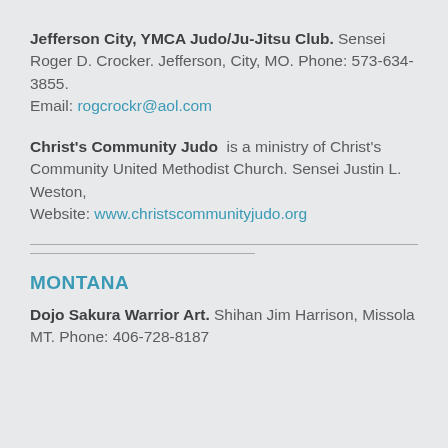Jefferson City, YMCA Judo/Ju-Jitsu Club. Sensei Roger D. Crocker. Jefferson, City, MO. Phone: 573-634-3855. Email: rogcrockr@aol.com
Christ's Community Judo is a ministry of Christ's Community United Methodist Church. Sensei Justin L. Weston, Website: www.christscommunityjudo.org
MONTANA
Dojo Sakura Warrior Art. Shihan Jim Harrison, Missola MT. Phone: 406-728-8187